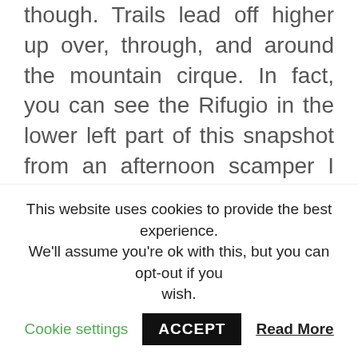though. Trails lead off higher up over, through, and around the mountain cirque. In fact, you can see the Rifugio in the lower left part of this snapshot from an afternoon scamper I took with my buddy Cip. On our second night staying at the hut we hiked up an hour or so to the northwest ridge of the mountains, to where WWI trenches are still in place, and still explorable. As afternoon turned into evening clouds built up and began to interact with the sun in glorious ways. Just before sunset I stumbled on a patch of wildflowers that complemented the color of the clouds as the sky exploded, a true Partibomb.
This website uses cookies to provide the best experience. We'll assume you're ok with this, but you can opt-out if you wish. Cookie settings ACCEPT Read More